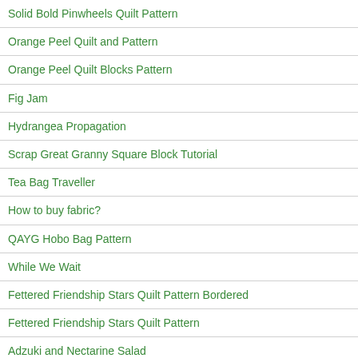Solid Bold Pinwheels Quilt Pattern
Orange Peel Quilt and Pattern
Orange Peel Quilt Blocks Pattern
Fig Jam
Hydrangea Propagation
Scrap Great Granny Square Block Tutorial
Tea Bag Traveller
How to buy fabric?
QAYG Hobo Bag Pattern
While We Wait
Fettered Friendship Stars Quilt Pattern Bordered
Fettered Friendship Stars Quilt Pattern
Adzuki and Nectarine Salad